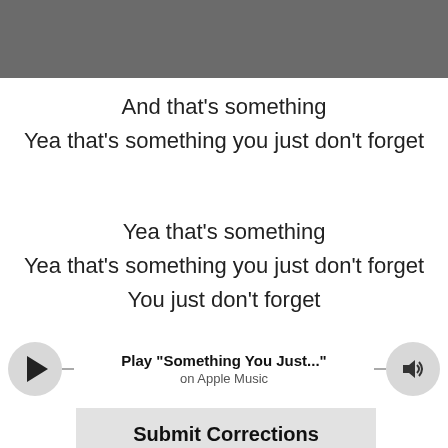[Figure (screenshot): Gray header bar at top of page]
And that's something
Yea that's something you just don't forget
Yea that's something
Yea that's something you just don't forget
You just don't forget
[Figure (other): Music player bar with play button, 'Play "Something You Just..."' text, 'on Apple Music' subtitle, and volume button]
Submit Corrections